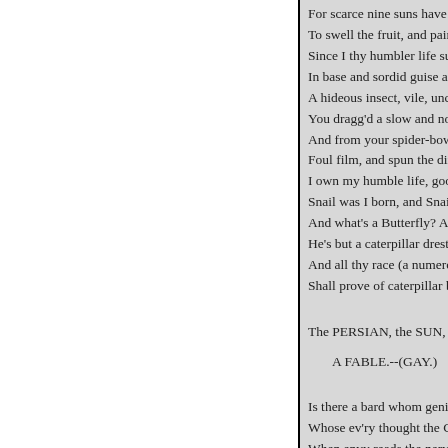For scarce nine suns have w
To swell the fruit, and paint
Since I thy humbler life sur
In base and sordid guise arr
A hideous insect, vile, uncl
You dragg'd a slow and nois
And from your spider-bowe
Foul film, and spun the dirt
I own my humble life, good
Snail was I born, and Snail
And what's a Butterfly? At
He's but a caterpillar drest;
And all thy race (a numerou
Shall prove of caterpillar br
The PERSIAN, the SUN, a
 A FABLE.--(GAY.)
Is there a bard whom genius
Whose ev'ry thought the Go
When envy reads the nervo
She frets, she rails, she rave
Her hissing snakes with ver